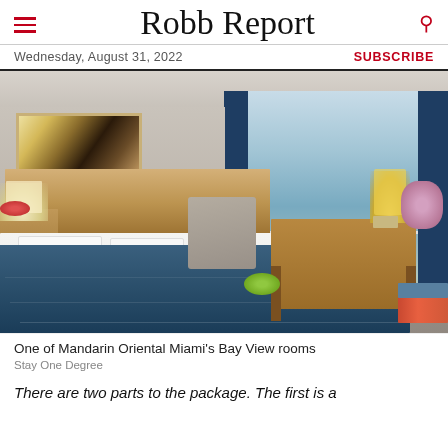Robb Report
Wednesday, August 31, 2022 | SUBSCRIBE
[Figure (photo): Hotel room photo: One of Mandarin Oriental Miami's Bay View rooms, featuring a king bed with white linens and blue bolster, blue patterned rug, artwork above headboard, desk with lamp and plants, chairs, and floor-to-ceiling windows with blue drapes overlooking Biscayne Bay.]
One of Mandarin Oriental Miami's Bay View rooms
Stay One Degree
There are two parts to the package. The first is a